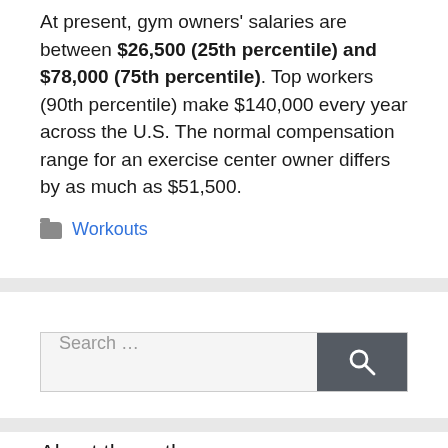At present, gym owners' salaries are between $26,500 (25th percentile) and $78,000 (75th percentile). Top workers (90th percentile) make $140,000 every year across the U.S. The normal compensation range for an exercise center owner differs by as much as $51,500.
Workouts
[Figure (screenshot): Search bar with placeholder text 'Search ...' and a dark gray search button with magnifying glass icon]
About the author